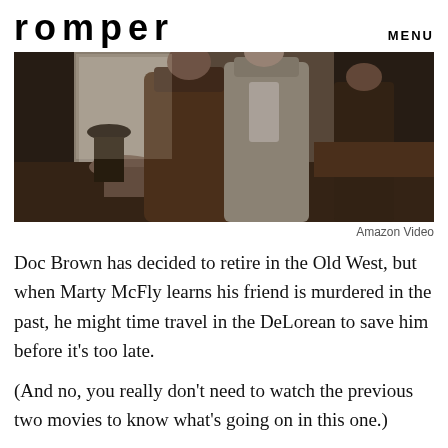romper   MENU
[Figure (photo): Scene from Back to the Future Part III showing characters in western cowboy clothing inside a saloon or restaurant setting. Two main figures in brown cloaks/ponchos are visible in the foreground, with other people seated at tables in the background near windows.]
Amazon Video
Doc Brown has decided to retire in the Old West, but when Marty McFly learns his friend is murdered in the past, he might time travel in the DeLorean to save him before it’s too late.
(And no, you really don’t need to watch the previous two movies to know what’s going on in this one.)